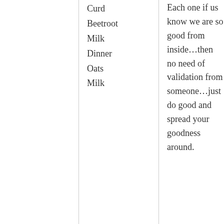Curd
Beetroot
Milk
Dinner
Oats
Milk
Each one if us know we are so good from inside…then no need of validation from someone…just do good and spread your goodness around.